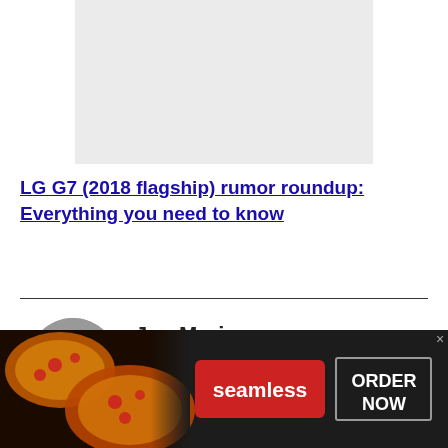[Figure (photo): Gray placeholder image box at top of page]
LG G7 (2018 flagship) rumor roundup: Everything you need to know
[Figure (photo): Circular author photo of Joe Maring, a young man smiling]
Joe Maring
[Figure (infographic): Seamless food delivery advertisement banner with pizza image, red Seamless button, and ORDER NOW button]